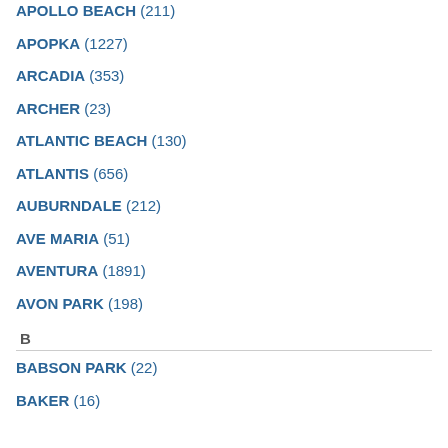APOLLO BEACH (211)
APOPKA (1227)
ARCADIA (353)
ARCHER (23)
ATLANTIC BEACH (130)
ATLANTIS (656)
AUBURNDALE (212)
AVE MARIA (51)
AVENTURA (1891)
AVON PARK (198)
B
BABSON PARK (22)
BAKER (16)